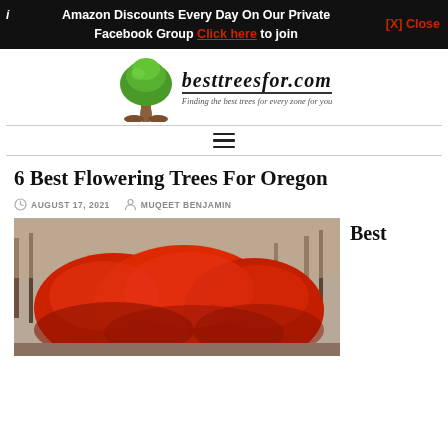Amazon Discounts Every Day On Our Private Facebook Group Click here to join [X] Close
[Figure (logo): Besttreesfor.com website logo with a green tree illustration and tagline 'Finding the best trees for every zone for you']
6 Best Flowering Trees For Oregon
AUGUST 17, 2021   MUQEET BENJAMIN
[Figure (photo): Photo of a red Japanese maple tree with autumn foliage in a forest setting]
Best